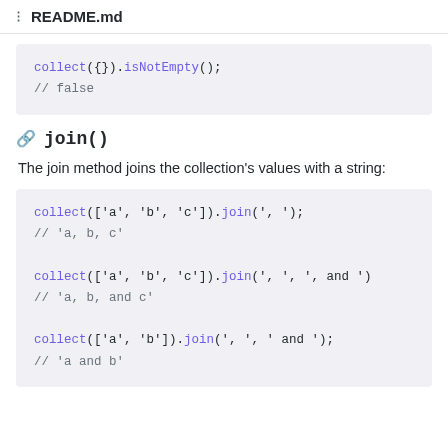README.md
collect({}).isNotEmpty();
// false
join()
The join method joins the collection's values with a string:
collect(['a', 'b', 'c']).join(', ');
// 'a, b, c'

collect(['a', 'b', 'c']).join(', ', ', and ')
// 'a, b, and c'

collect(['a', 'b']).join(', ', ' and ');
// 'a and b'